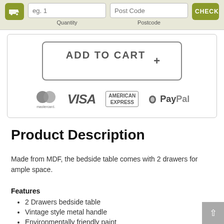[Figure (screenshot): Delivery check widget with truck icon, quantity input, postcode input, and CHECK button]
[Figure (screenshot): ADD TO CART button with plus sign]
[Figure (logo): Payment logos: Mastercard, VISA, American Express, PayPal]
Product Description
Made from MDF, the bedside table comes with 2 drawers for ample space.
Features
2 Drawers bedside table
Vintage style metal handle
Environmentally friendly paint
MDF material